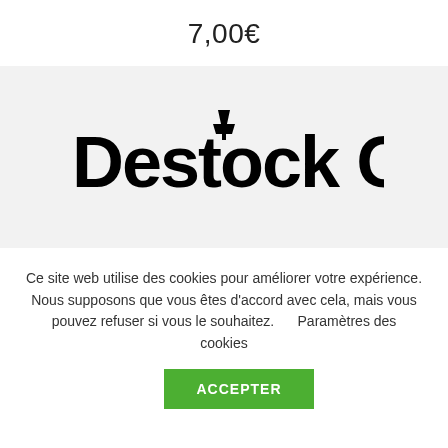7,00€
[Figure (logo): Destock Occaz logo: bold black text with a lamp icon above the letter k]
Ce site web utilise des cookies pour améliorer votre expérience. Nous supposons que vous êtes d'accord avec cela, mais vous pouvez refuser si vous le souhaitez.    Paramètres des cookies
ACCEPTER